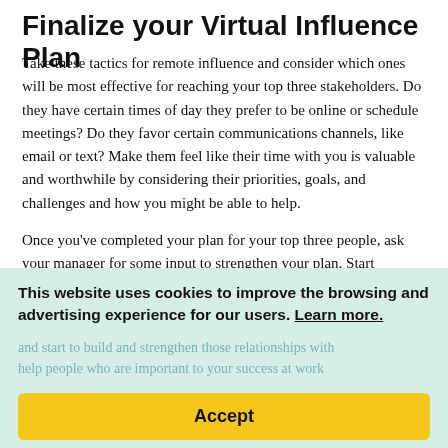Finalize your Virtual Influence Plan
Take these tactics for remote influence and consider which ones will be most effective for reaching your top three stakeholders. Do they have certain times of day they prefer to be online or schedule meetings? Do they favor certain communications channels, like email or text? Make them feel like their time with you is valuable and worthwhile by considering their priorities, goals, and challenges and how you might be able to help.
Once you’ve completed your plan for your top three people, ask your manager for some input to strengthen your plan. Start practicing your plan with these three people so that
This website uses cookies to improve the browsing and advertising experience for our users. Learn more.
and start to build and strengthen those relationships with help people who are important to your success at work
Accept
Learn more from Sacha about effective remote